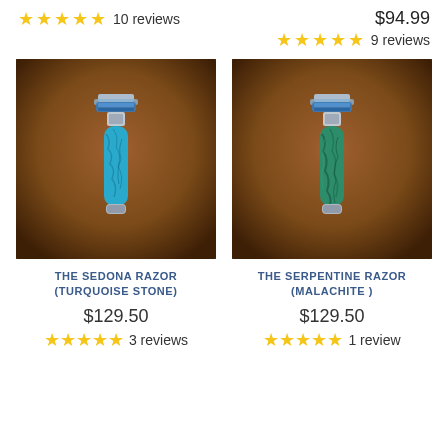★★★★★ 10 reviews
$94.99
★★★★★ 9 reviews
[Figure (photo): The Sedona Razor with turquoise stone handle on dark brown background]
THE SEDONA RAZOR (TURQUOISE STONE)
$129.50
★★★★★ 3 reviews
[Figure (photo): The Serpentine Razor with malachite handle on dark brown background]
THE SERPENTINE RAZOR (MALACHITE )
$129.50
★★★★★ 1 review